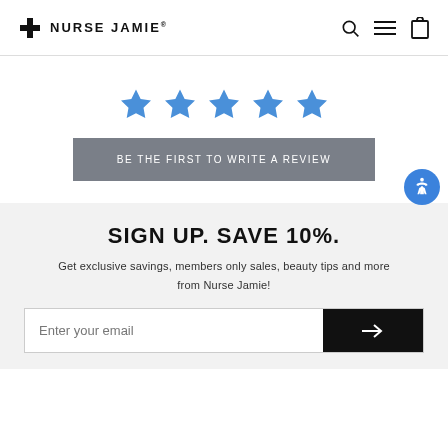NURSE JAMIE
[Figure (other): Five blue star rating icons displayed in a row]
BE THE FIRST TO WRITE A REVIEW
SIGN UP. SAVE 10%.
Get exclusive savings, members only sales, beauty tips and more from Nurse Jamie!
Enter your email